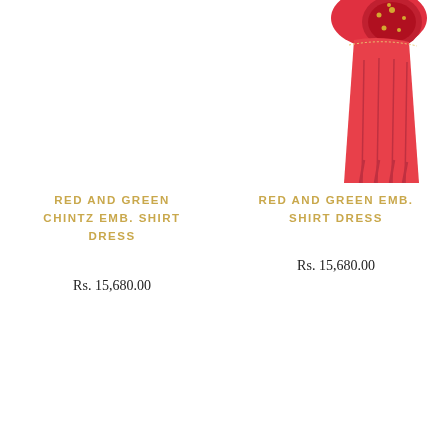[Figure (photo): Red and green embroidered shirt dress product photo (left), partially visible at top of page, white background]
[Figure (photo): Red and green embroidered shirt dress product photo (right), partially visible at top of page showing red garment with embroidered detail, white background]
RED AND GREEN CHINTZ EMB. SHIRT DRESS
Rs. 15,680.00
RED AND GREEN EMB. SHIRT DRESS
Rs. 15,680.00